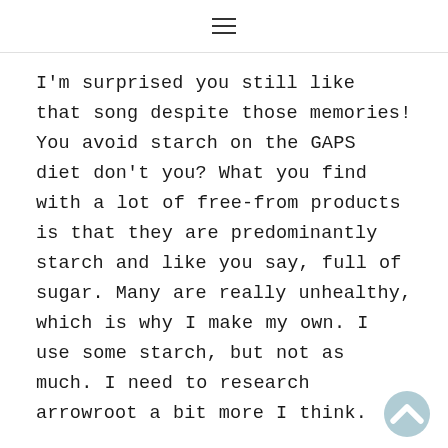☰
I'm surprised you still like that song despite those memories! You avoid starch on the GAPS diet don't you? What you find with a lot of free-from products is that they are predominantly starch and like you say, full of sugar. Many are really unhealthy, which is why I make my own. I use some starch, but not as much. I need to research arrowroot a bit more I think.